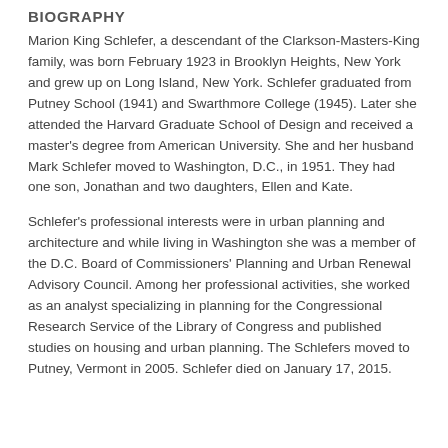BIOGRAPHY
Marion King Schlefer, a descendant of the Clarkson-Masters-King family, was born February 1923 in Brooklyn Heights, New York and grew up on Long Island, New York. Schlefer graduated from Putney School (1941) and Swarthmore College (1945). Later she attended the Harvard Graduate School of Design and received a master's degree from American University. She and her husband Mark Schlefer moved to Washington, D.C., in 1951. They had one son, Jonathan and two daughters, Ellen and Kate.
Schlefer's professional interests were in urban planning and architecture and while living in Washington she was a member of the D.C. Board of Commissioners' Planning and Urban Renewal Advisory Council. Among her professional activities, she worked as an analyst specializing in planning for the Congressional Research Service of the Library of Congress and published studies on housing and urban planning. The Schlefers moved to Putney, Vermont in 2005. Schlefer died on January 17, 2015.